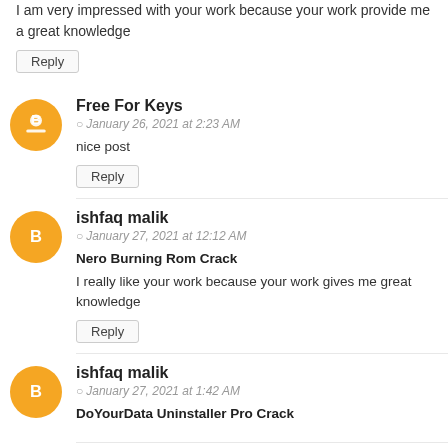I am very impressed with your work because your work provide me a great knowledge
Reply
Free For Keys
January 26, 2021 at 2:23 AM
nice post
Reply
ishfaq malik
January 27, 2021 at 12:12 AM
Nero Burning Rom Crack
I really like your work because your work gives me great knowledge
Reply
ishfaq malik
January 27, 2021 at 1:42 AM
DoYourData Uninstaller Pro Crack